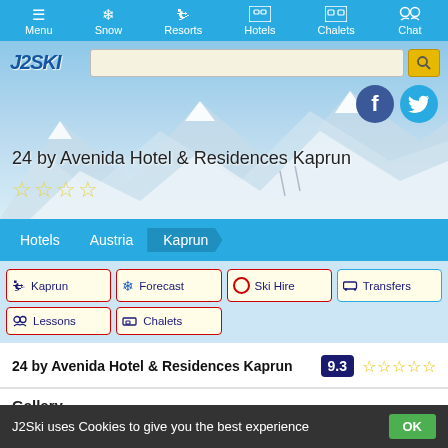Menu | Snow | Resorts | Hotels | Chalets | Chat
[Figure (screenshot): Hero banner with snowy mountain background, J2Ski logo, search bar, Facebook and Twitter social icons, hotel title '24 by Avenida Hotel & Residences Kaprun' with 4 star rating]
24 by Avenida Hotel & Residences Kaprun
Hotels > Austria > Kaprun
Kaprun
Forecast
Ski Hire
Transfers
Lessons
Chalets
24 by Avenida Hotel & Residences Kaprun  9.3 ☆☆☆☆☆
Gallery
J2Ski uses Cookies to give you the best experience  OK